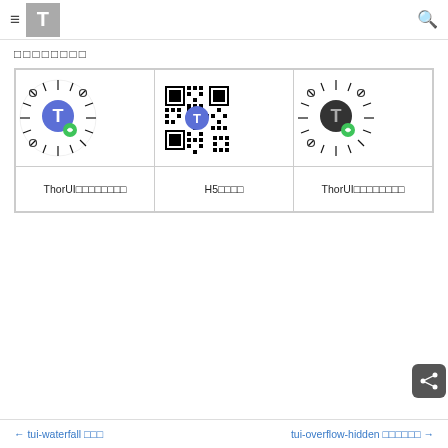≡ T [logo] 🔍
□□□□□□□□
| ThorUI□□□□□□□□ | H5□□□□ | ThorUI□□□□□□□□ |
| --- | --- | --- |
| [QR code image 1] | [QR code image 2] | [QR code image 3] |
← tui-waterfall □□□    tui-overflow-hidden □□□□□□ →